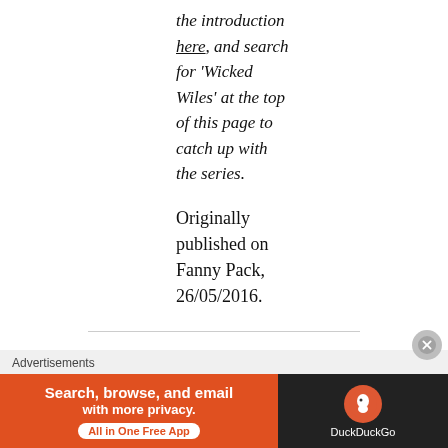the introduction here, and search for 'Wicked Wiles' at the top of this page to catch up with the series.
Originally published on Fanny Pack, 26/05/2016.
[Figure (other): Broken image placeholder with alt text 'Synopsis']
Advertisements
[Figure (screenshot): DuckDuckGo advertisement banner. Orange section reads 'Search, browse, and email with more privacy. All in One Free App'. Dark section shows DuckDuckGo logo and name.]